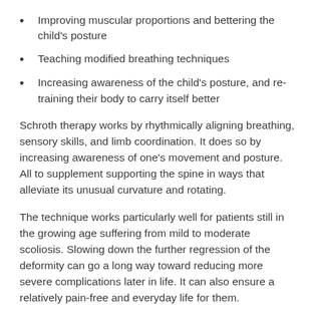Improving muscular proportions and bettering the child's posture
Teaching modified breathing techniques
Increasing awareness of the child's posture, and re-training their body to carry itself better
Schroth therapy works by rhythmically aligning breathing, sensory skills, and limb coordination. It does so by increasing awareness of one's movement and posture. All to supplement supporting the spine in ways that alleviate its unusual curvature and rotating.
The technique works particularly well for patients still in the growing age suffering from mild to moderate scoliosis. Slowing down the further regression of the deformity can go a long way toward reducing more severe complications later in life. It can also ensure a relatively pain-free and everyday life for them.